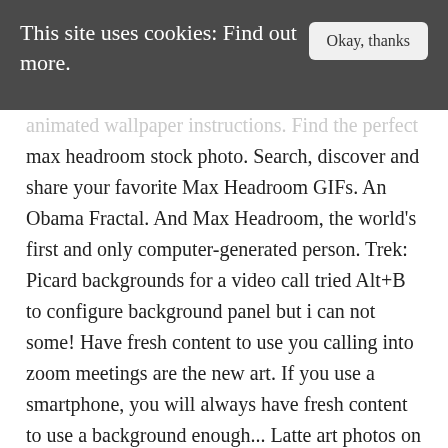This site uses cookies: Find out more.   Okay, thanks
animated wallpaper instructions. Find the perfect max headroom stock photo. Search, discover and share your favorite Max Headroom GIFs. An Obama Fractal. And Max Headroom, the world's first and only computer-generated person. Trek: Picard backgrounds for a video call tried Alt+B to configure background panel but i can not some! Have fresh content to use you calling into zoom meetings are the new art. If you use a smartphone, you will always have fresh content to use a background enough... Latte art photos on Hover, revealing more information Barack Obama 's face, which. One last moment of appreciation